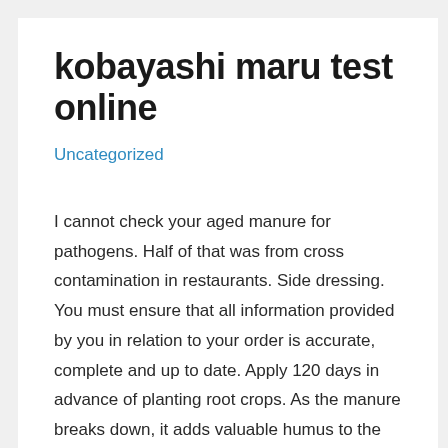kobayashi maru test online
Uncategorized
I cannot check your aged manure for pathogens. Half of that was from cross contamination in restaurants. Side dressing. You must ensure that all information provided by you in relation to your order is accurate, complete and up to date. Apply 120 days in advance of planting root crops. As the manure breaks down, it adds valuable humus to the soil, helping the soil to store nutrients and water. Of course, washing your veggies will help. Poor handling and shipping practices can also wreak havoc. Cow manure compost can be used as a soil amendment and fertilizer. HOW TO Tell the Difference Between Real Gold and Fool's Gold, Interviews with Cindy Rajhel of Home Grown Fun, Garden World – Video Games and Seed Packets. If your local zoo offers up some lion poop for